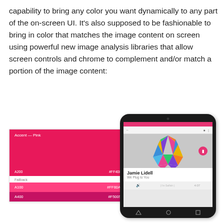capability to bring any color you want dynamically to any part of the on-screen UI. It’s also supposed to be fashionable to bring in color that matches the image content on screen using powerful new image analysis libraries that allow screen controls and chrome to complement and/or match a portion of the image content:
[Figure (screenshot): Two UI elements side by side: a Material Design color palette panel on the left showing Accent-Pink swatches (A200 #FF4081, A100 #FF80AB, A400 #F50057), and a smartphone mockup on the right showing a music player app with a colorful low-poly face artwork and 'Jamie Lidell - We Plug to You' playing.]